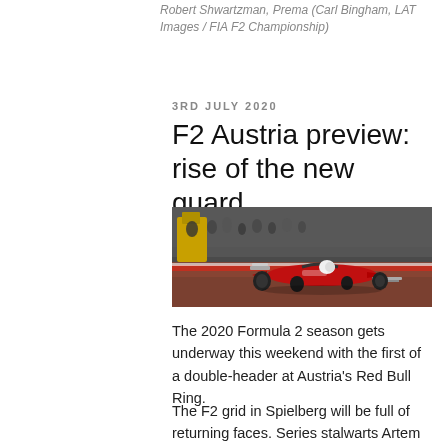Robert Shwartzman, Prema (Carl Bingham, LAT Images / FIA F2 Championship)
3RD JULY 2020
F2 Austria preview: rise of the new guard
[Figure (photo): Robert Shwartzman driving a red Prema Formula 2 car in the pit lane or circuit, with crowd and equipment visible in the background]
The 2020 Formula 2 season gets underway this weekend with the first of a double-header at Austria's Red Bull Ring.
The F2 grid in Spielberg will be full of returning faces. Series stalwarts Artem